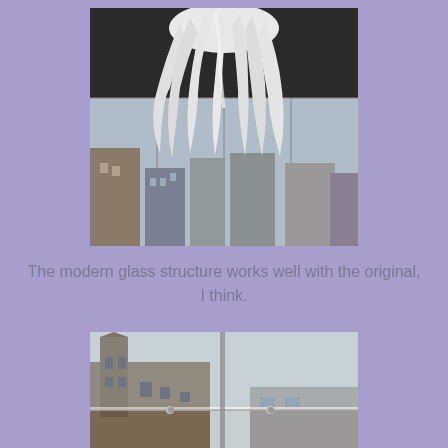[Figure (photo): A white organic sculpture with multiple tentacle-like extensions hanging from above, viewed from below, with a modern glass-walled building interior visible in the background and an urban cityscape visible through the glass panels.]
The modern glass structure works well with the original, I think.
[Figure (photo): A view through a modern glass railing/balustrade toward an old stone building (likely a historic church or civic building) against a cloudy sky, with the glass panels and metal fittings of the modern structure in the foreground.]